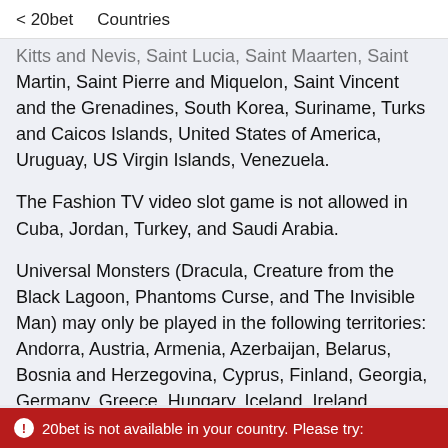< 20bet    Countries
Kitts and Nevis, Saint Lucia, Saint Maarten, Saint Martin, Saint Pierre and Miquelon, Saint Vincent and the Grenadines, South Korea, Suriname, Turks and Caicos Islands, United States of America, Uruguay, US Virgin Islands, Venezuela.
The Fashion TV video slot game is not allowed in Cuba, Jordan, Turkey, and Saudi Arabia.
Universal Monsters (Dracula, Creature from the Black Lagoon, Phantoms Curse, and The Invisible Man) may only be played in the following territories: Andorra, Austria, Armenia, Azerbaijan, Belarus, Bosnia and Herzegovina, Cyprus, Finland, Georgia, Germany, Greece, Hungary, Iceland, Ireland, Liechtenstein, Luxembourg, Malta, Moldova, Monaco, Montenegro, Netherlands, North Macedonia, Norway, Poland, Russia, San Marino…
20bet is not available in your country. Please try: